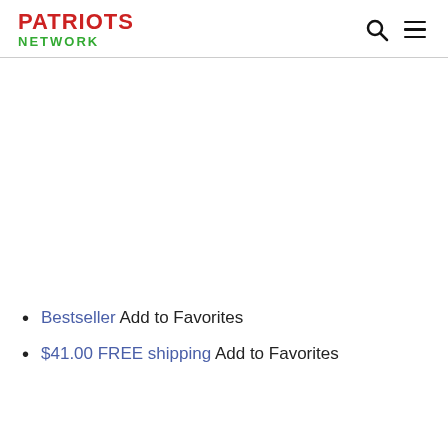PATRIOTS NETWORK
Bestseller Add to Favorites
$41.00 FREE shipping Add to Favorites